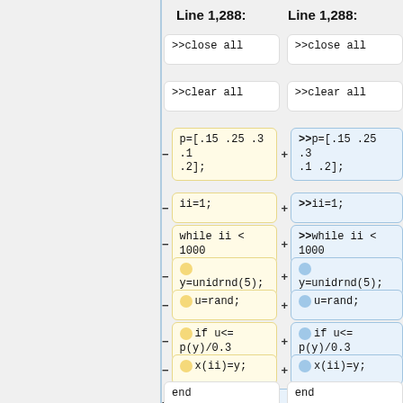Line 1,288:
Line 1,288:
[Figure (screenshot): Diff view of code showing two columns of code blocks. Left column has yellow-highlighted removals (minus signs), right column has blue-highlighted additions (plus signs). Lines show MATLAB/Octave code for a probability simulation.]